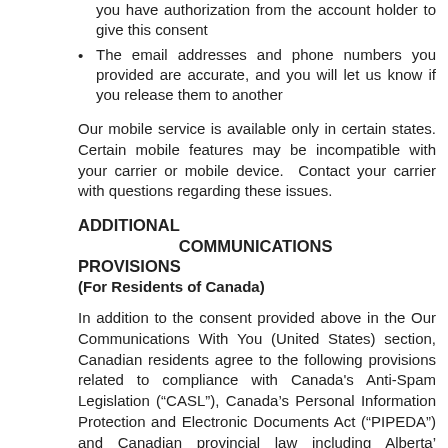you have authorization from the account holder to give this consent
The email addresses and phone numbers you provided are accurate, and you will let us know if you release them to another
Our mobile service is available only in certain states. Certain mobile features may be incompatible with your carrier or mobile device.  Contact your carrier with questions regarding these issues.
ADDITIONAL COMMUNICATIONS PROVISIONS
(For Residents of Canada)
In addition to the consent provided above in the Our Communications With You (United States) section, Canadian residents agree to the following provisions related to compliance with Canada's Anti-Spam Legislation (“CASL”), Canada’s Personal Information Protection and Electronic Documents Act (“PIPEDA”) and Canadian provincial law including Alberta’ Personal Information Protection Act (“PIPA”), British Columbia’s Personal Information Protection Act, and Quebec’s Act Respecting the Protection of Personal Information in the Private Sector: